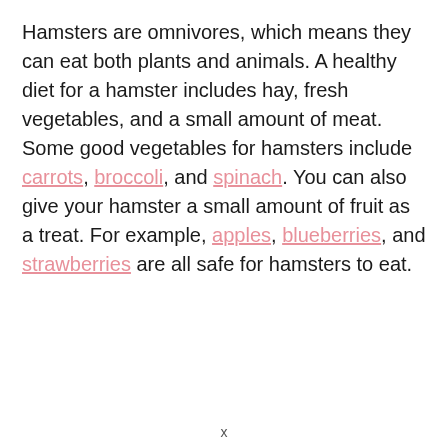Hamsters are omnivores, which means they can eat both plants and animals. A healthy diet for a hamster includes hay, fresh vegetables, and a small amount of meat. Some good vegetables for hamsters include carrots, broccoli, and spinach. You can also give your hamster a small amount of fruit as a treat. For example, apples, blueberries, and strawberries are all safe for hamsters to eat.
x